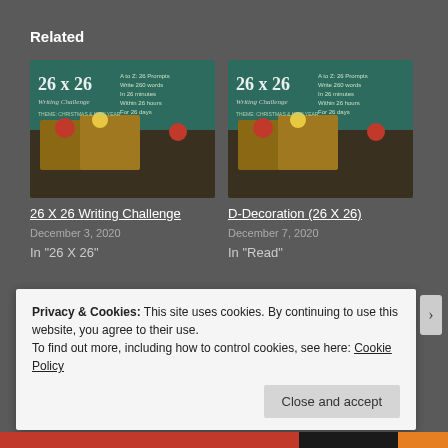Related
[Figure (photo): 26 X 26 Writing Challenge promotional image with dark green chalkboard background and Christmas gifts]
26 X 26 Writing Challenge
December 3, 2020
In "26 X 26"
[Figure (photo): D-Decoration (26 X 26) promotional image with dark green chalkboard background and Christmas gifts]
D-Decoration (26 X 26)
December 7, 2020
In "Read"
[Figure (photo): Partial third card image, partially visible at bottom]
Privacy & Cookies: This site uses cookies. By continuing to use this website, you agree to their use.
To find out more, including how to control cookies, see here: Cookie Policy
Close and accept